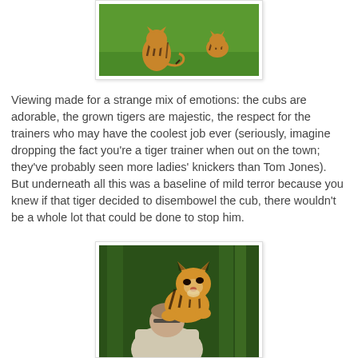[Figure (photo): Photo of tiger cubs on green grass, viewed from behind, with another tiger in the background]
Viewing made for a strange mix of emotions: the cubs are adorable, the grown tigers are majestic, the respect for the trainers who may have the coolest job ever (seriously, imagine dropping the fact you're a tiger trainer when out on the town; they've probably seen more ladies' knickers than Tom Jones). But underneath all this was a baseline of mild terror because you knew if that tiger decided to disembowel the cub, there wouldn't be a whole lot that could be done to stop him.
[Figure (photo): Photo of a man holding a tiger cub that is looking upward, with trees in the background]